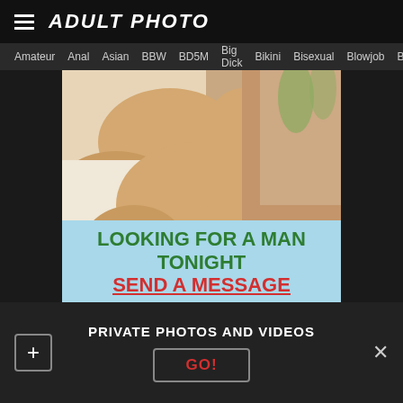ADULT PHOTO
Amateur  Anal  Asian  BBW  BD5M  Big Dick  Bikini  Bisexual  Blowjob  Boobs
[Figure (photo): Close-up photo of a person lying down with an advertisement overlay reading 'LOOKING FOR A MAN TONIGHT' and 'SEND A MESSAGE']
PRIVATE PHOTOS AND VIDEOS
GO!